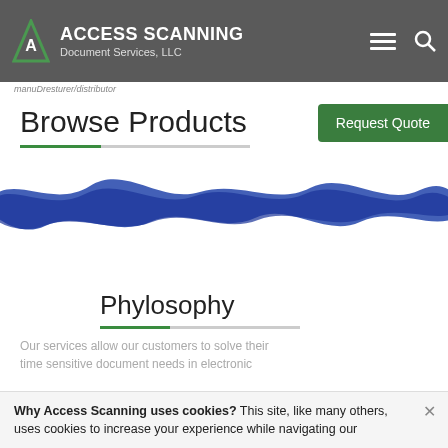ACCESS SCANNING Document Services, LLC
manuDresturer/distributor
Browse Products
Request Quote
[Figure (illustration): Blue paint brush stroke spanning full width]
Phylosophy
Our services allow our customers to solve their time sensitive document needs in electronic
Why Access Scanning uses cookies? This site, like many others, uses cookies to increase your experience while navigating our